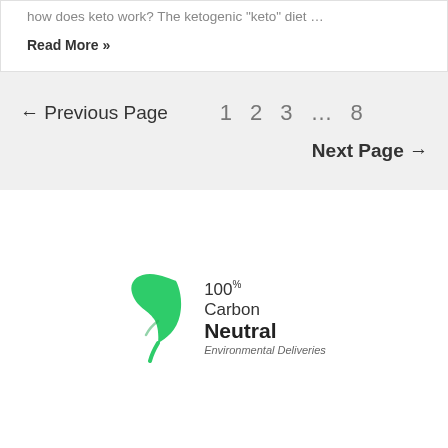how does keto work? The ketogenic "keto" diet …
Read More »
← Previous Page   1   2   3   …   8   Next Page →
[Figure (logo): 100% Carbon Neutral Environmental Deliveries logo with green leaf icon]